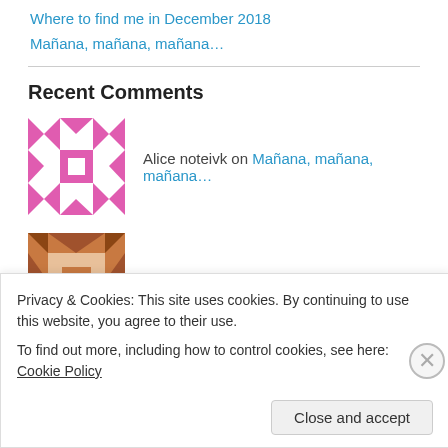Where to find me in December 2018
Mañana, mañana, mañana…
Recent Comments
Alice noteivk on Mañana, mañana, mañana…
Sandy on Renaissance Arts Faire
Jana Burke Wolfe on Hishi twist
Privacy & Cookies: This site uses cookies. By continuing to use this website, you agree to their use. To find out more, including how to control cookies, see here: Cookie Policy